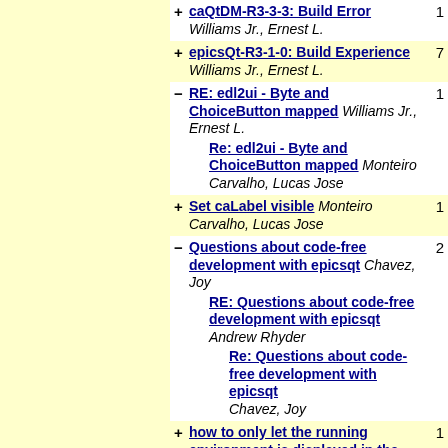+ caQtDM-R3-3-3: Build Error Williams Jr., Ernest L. [count: 1]
+ epicsQt-R3-1-0: Build Experience Williams Jr., Ernest L. [count: 7]
- RE: edl2ui - Byte and ChoiceButton mapped Williams Jr., Ernest L.  → Re: edl2ui - Byte and ChoiceButton mapped Monteiro Carvalho, Lucas Jose [count: 1]
+ Set caLabel visible Monteiro Carvalho, Lucas Jose [count: 1]
- Questions about code-free development with epicsqt Chavez, Joy → RE: Questions about code-free development with epicsqt Andrew Rhyder → Re: Questions about code-free development with epicsqt Chavez, Joy [count: 2]
+ how to only let the running environment is displayed in the client? huxq@hhmtc.com [count: 1]